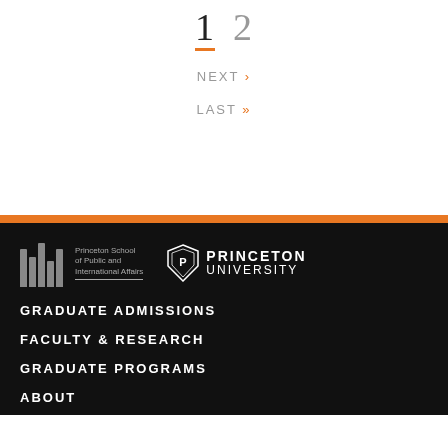1  2
NEXT ›
LAST »
[Figure (logo): Princeton School of Public and International Affairs logo with vertical bars icon]
[Figure (logo): Princeton University shield logo with PRINCETON UNIVERSITY text]
GRADUATE ADMISSIONS
FACULTY & RESEARCH
GRADUATE PROGRAMS
ABOUT